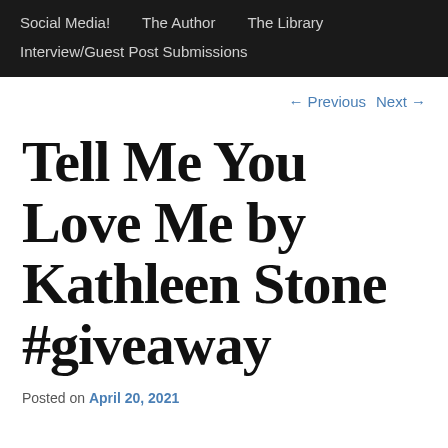Social Media!   The Author   The Library   Interview/Guest Post Submissions
← Previous   Next →
Tell Me You Love Me by Kathleen Stone #giveaway
Posted on April 20, 2021